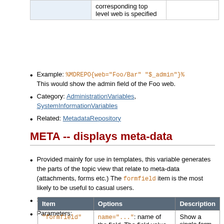|  |  |  |
| --- | --- | --- |
|  | corresponding top level web is specified |  |
Example: %MDREPO{web="Foo/Bar" "$_admin"}%
This would show the admin field of the Foo web.
Category: AdministrationVariables, SystemInformationVariables
Related: MetadataRepository
META -- displays meta-data
Provided mainly for use in templates, this variable generates the parts of the topic view that relate to meta-data (attachments, forms etc.) The formfield item is the most likely to be useful to casual users.
Syntax: %META{ "item" ...}%
Parameters:
| Item | Options | Description |
| --- | --- | --- |
| "formfield" | name="...": name of the field. The field value can be shortened as | Show a single form field |